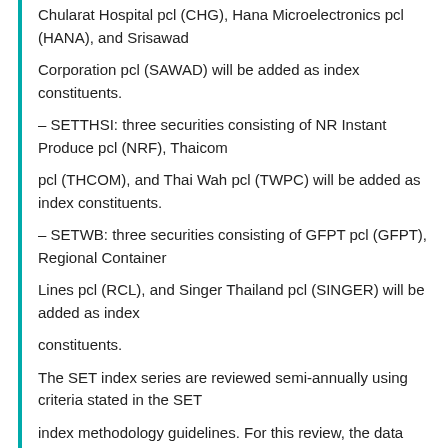Chularat Hospital pcl (CHG), Hana Microelectronics pcl (HANA), and Srisawad Corporation pcl (SAWAD) will be added as index constituents.
– SETTHSI: three securities consisting of NR Instant Produce pcl (NRF), Thaicom pcl (THCOM), and Thai Wah pcl (TWPC) will be added as index constituents.
– SETWB: three securities consisting of GFPT pcl (GFPT), Regional Container Lines pcl (RCL), and Singer Thailand pcl (SINGER) will be added as index constituents.
The SET index series are reviewed semi-annually using criteria stated in the SET index methodology guidelines. For this review, the data from the date of last...